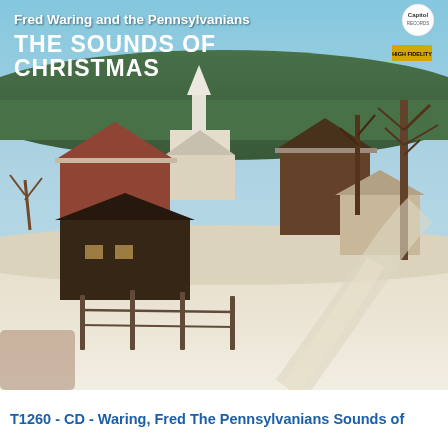[Figure (photo): Album cover for 'Fred Waring and the Pennsylvanians – The Sounds of Christmas' on Capitol Records. A winter scene showing a New England village with snow-covered ground, red barns, a white church steeple, bare trees, and a snowy road. Text overlay at top reads 'Fred Waring and the Pennsylvanians' and 'THE SOUNDS OF CHRISTMAS'. Capitol Records logo in upper right.]
T1260 - CD - Waring, Fred The Pennsylvanians Sounds of